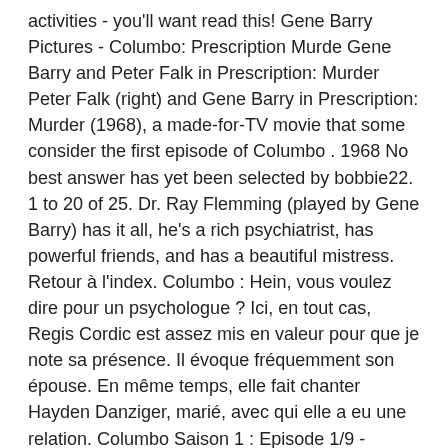activities - you'll want read this! Gene Barry Pictures - Columbo: Prescription Murde Gene Barry and Peter Falk in Prescription: Murder Peter Falk (right) and Gene Barry in Prescription: Murder (1968), a made-for-TV movie that some consider the first episode of Columbo . 1968 No best answer has yet been selected by bobbie22. 1 to 20 of 25. Dr. Ray Flemming (played by Gene Barry) has it all, he's a rich psychiatrist, has powerful friends, and has a beautiful mistress. Retour à l'index. Columbo : Hein, vous voulez dire pour un psychologue ? Ici, en tout cas, Regis Cordic est assez mis en valeur pour que je note sa présence. Il évoque fréquemment son épouse. En même temps, elle fait chanter Hayden Danziger, marié, avec qui elle a eu une relation. Columbo Saison 1 : Episode 1/9 - Inculpé de meurtre. Gene Barry, Inculpé de meurtre (1968), écrit par Richard Levinson et William Link. Peter Falk, Gene Barry, Katherine Justice Peter Falk made his first appearance as Lt. Columbo in this 1968 movie À